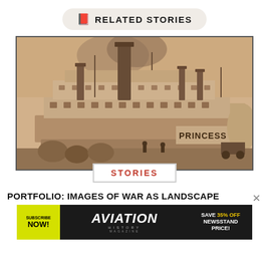📕 RELATED STORIES
[Figure (photo): Sepia-toned historical photograph of a large steamboat named 'Princess' docked at a riverfront, with tall smokestacks and multi-deck structure visible.]
STORIES
PORTFOLIO: IMAGES OF WAR AS LANDSCAPE
[Figure (other): Advertisement banner for Aviation History Magazine: yellow Subscribe Now circle badge on left, AVIATION HISTORY MAGAZINE in white text center, SAVE 35% OFF NEWSSTAND PRICE! in yellow/white text on right.]